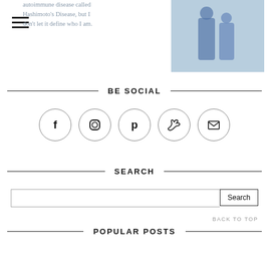[Figure (photo): Handwritten text about autoimmune disease called Hashimoto's Disease alongside a photo of a person]
BE SOCIAL
[Figure (infographic): Social media icons in circles: Facebook, Instagram, Pinterest, Twitter, Email]
SEARCH
Search input box with Search button
POPULAR POSTS
BACK TO TOP